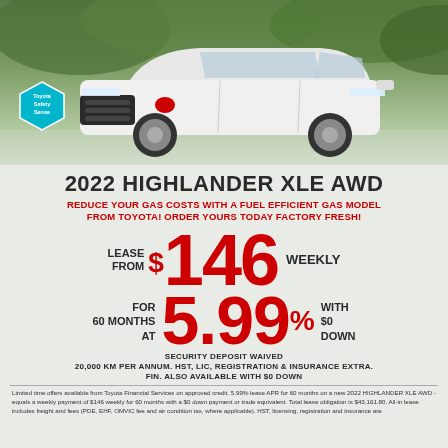[Figure (photo): 2022 Toyota Highlander XLE AWD white SUV photographed from front-left angle with green foliage background. Toyota Safety Sense badge visible on lower left.]
2022 HIGHLANDER XLE AWD
REDUCE YOUR GAS COSTS WITH A FUEL EFFICIENT GAS MODEL FROM TOYOTA! ORDER YOURS TODAY FACTORY FRESH!
LEASE FROM $146 WEEKLY
FOR 60 MONTHS AT 5.99% WITH $0 DOWN
SECURITY DEPOSIT WAIVED
20,000 KM PER ANNUM. HST, LIC, REGISTRATION & INSURANCE EXTRA.
FIN. ALSO AVAILABLE WITH $0 DOWN
Limited time offers available from Toyota Financial Services on approved credit. 5.99% lease APR for 60 months on a new 2022 HIGHLANDER XLE AWD - equals a weekly payment of $146 weekly for 60 months with a $0 down payment or trade equivalent. Total lease obligation is $43,161.80. All-in lease includes freight and fees (PDE, EHF, OMVIC fee and air condition tax, where applicable). HST, licensing, registration and insurance are